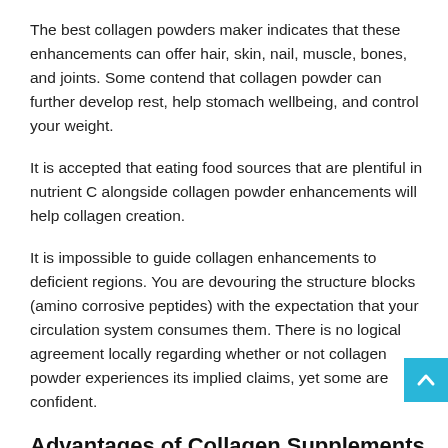The best collagen powders maker indicates that these enhancements can offer hair, skin, nail, muscle, bones, and joints. Some contend that collagen powder can further develop rest, help stomach wellbeing, and control your weight.
It is accepted that eating food sources that are plentiful in nutrient C alongside collagen powder enhancements will help collagen creation.
It is impossible to guide collagen enhancements to deficient regions. You are devouring the structure blocks (amino corrosive peptides) with the expectation that your circulation system consumes them. There is no logical agreement locally regarding whether or not collagen powder experiences its implied claims, yet some are confident.
Advantages of Collagen Supplements